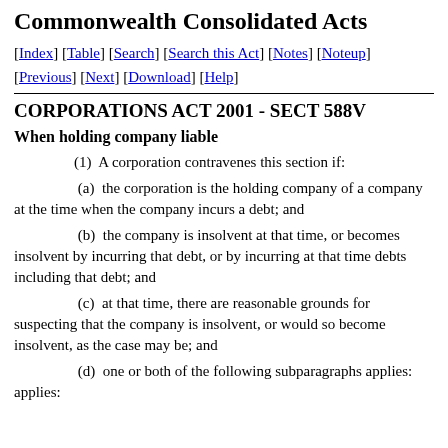Commonwealth Consolidated Acts
[Index] [Table] [Search] [Search this Act] [Notes] [Noteup] [Previous] [Next] [Download] [Help]
CORPORATIONS ACT 2001 - SECT 588V
When holding company liable
(1)  A corporation contravenes this section if:
(a)  the corporation is the holding company of a company at the time when the company incurs a debt; and
(b)  the company is insolvent at that time, or becomes insolvent by incurring that debt, or by incurring at that time debts including that debt; and
(c)  at that time, there are reasonable grounds for suspecting that the company is insolvent, or would so become insolvent, as the case may be; and
(d)  one or both of the following subparagraphs applies: